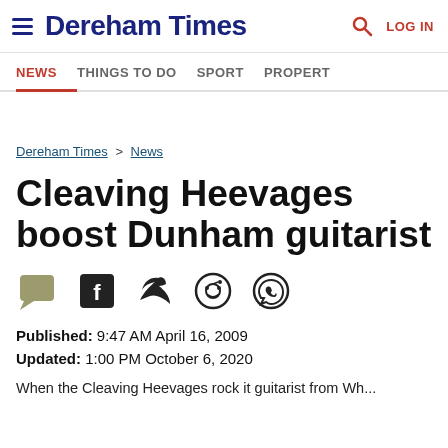Dereham Times | LOG IN
NEWS | THINGS TO DO | SPORT | PROPERTY
Dereham Times > News
Cleaving Heevages boost Dunham guitarist
Published: 9:47 AM April 16, 2009
Updated: 1:00 PM October 6, 2020